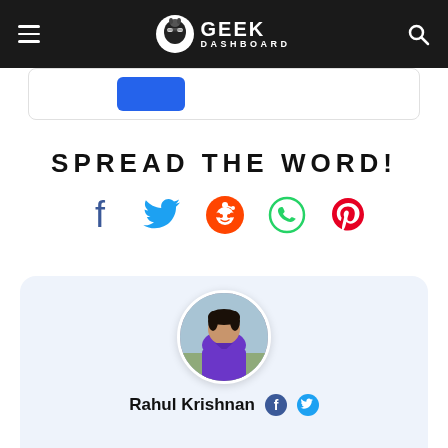GEEK DASHBOARD
[Figure (screenshot): Partial blue button visible at top of content area]
SPREAD THE WORD!
[Figure (infographic): Social media share icons: Facebook, Twitter, Reddit, WhatsApp, Pinterest]
[Figure (photo): Author profile photo of Rahul Krishnan in a circular frame]
Rahul Krishnan